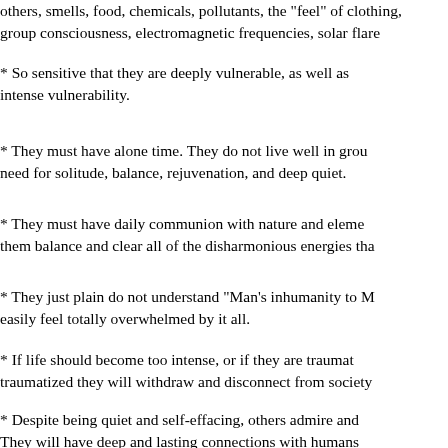others, smells, food, chemicals, pollutants, the "feel" of clothing, group consciousness, electromagnetic frequencies, solar flar...
* So sensitive that they are deeply vulnerable, as well as intense vulnerability.
* They must have alone time. They do not live well in grou... need for solitude, balance, rejuvenation, and deep quiet.
* They must have daily communion with nature and elemen... them balance and clear all of the disharmonious energies tha...
* They just plain do not understand "Man's inhumanity to M... easily feel totally overwhelmed by it all.
* If life should become too intense, or if they are traumat... traumatized they will withdraw and disconnect from society...
* Despite being quiet and self-effacing, others admire and ... They will have deep and lasting connections with humans... that the Crystal knows is the only true Love.